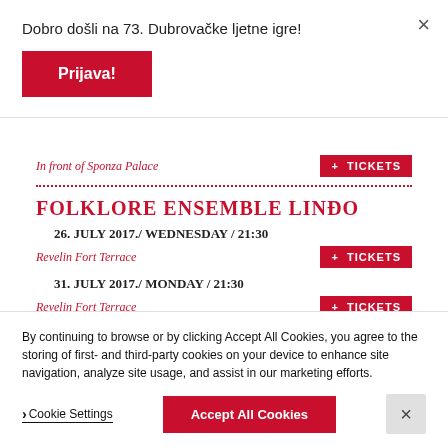Dobro došli na 73. Dubrovačke ljetne igre!
Prijava!
In front of Sponza Palace
FOLKLORE ENSEMBLE LINĐO
26. JULY 2017./ WEDNESDAY / 21:30
Revelin Fort Terrace
31. JULY 2017./ MONDAY / 21:30
Revelin Fort Terrace
By continuing to browse or by clicking Accept All Cookies, you agree to the storing of first- and third-party cookies on your device to enhance site navigation, analyze site usage, and assist in our marketing efforts.
Cookie Settings
Accept All Cookies
CROATIAN BAROQUE ENSEMBLE